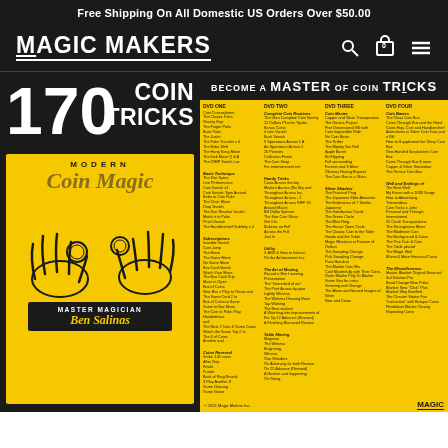Free Shipping On All Domestic US Orders Over $50.00
[Figure (logo): Magic Makers logo with search, cart (0), and menu icons on dark background]
[Figure (photo): 170 Coin Tricks book cover featuring Modern Coin Magic by Ben Salinas with hands holding coins illustration on yellow background]
[Figure (infographic): Become a Master of Coin Tricks DVD content list across 4 DVDs with trick names in multiple columns on yellow background]